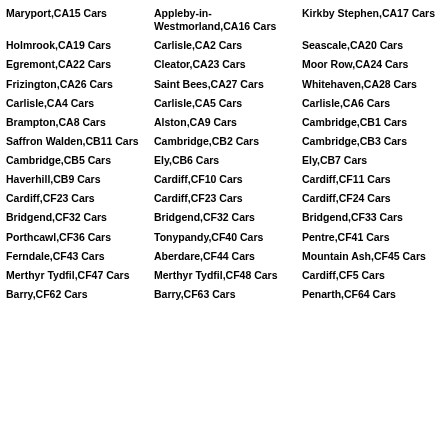Maryport,CA15 Cars
Appleby-in-Westmorland,CA16 Cars
Kirkby Stephen,CA17 Cars
Holmrook,CA19 Cars
Carlisle,CA2 Cars
Seascale,CA20 Cars
Egremont,CA22 Cars
Cleator,CA23 Cars
Moor Row,CA24 Cars
Frizington,CA26 Cars
Saint Bees,CA27 Cars
Whitehaven,CA28 Cars
Carlisle,CA4 Cars
Carlisle,CA5 Cars
Carlisle,CA6 Cars
Brampton,CA8 Cars
Alston,CA9 Cars
Cambridge,CB1 Cars
Saffron Walden,CB11 Cars
Cambridge,CB2 Cars
Cambridge,CB3 Cars
Cambridge,CB5 Cars
Ely,CB6 Cars
Ely,CB7 Cars
Haverhill,CB9 Cars
Cardiff,CF10 Cars
Cardiff,CF11 Cars
Cardiff,CF23 Cars
Cardiff,CF24 Cars
Bridgend,CF32 Cars
Bridgend,CF33 Cars
Porthcawl,CF36 Cars
Pontypridd,CF37 Cars
Tonypandy,CF40 Cars
Pentre,CF41 Cars
Ferndale,CF43 Cars
Aberdare,CF44 Cars
Mountain Ash,CF45 Cars
Merthyr Tydfil,CF47 Cars
Merthyr Tydfil,CF48 Cars
Cardiff,CF5 Cars
Barry,CF62 Cars
Barry,CF63 Cars
Penarth,CF64 Cars